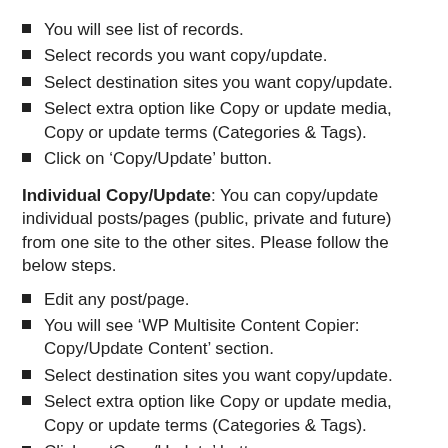You will see list of records.
Select records you want copy/update.
Select destination sites you want copy/update.
Select extra option like Copy or update media, Copy or update terms (Categories & Tags).
Click on ‘Copy/Update’ button.
Individual Copy/Update: You can copy/update individual posts/pages (public, private and future) from one site to the other sites. Please follow the below steps.
Edit any post/page.
You will see ‘WP Multisite Content Copier: Copy/Update Content’ section.
Select destination sites you want copy/update.
Select extra option like Copy or update media, Copy or update terms (Categories & Tags).
Click on ‘Copy/Update’ button.